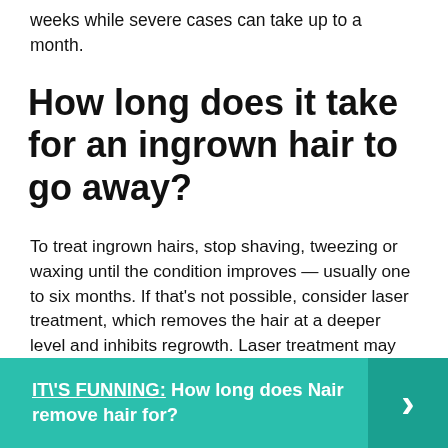weeks while severe cases can take up to a month.
How long does it take for an ingrown hair to go away?
To treat ingrown hairs, stop shaving, tweezing or waxing until the condition improves — usually one to six months. If that's not possible, consider laser treatment, which removes the hair at a deeper level and inhibits regrowth. Laser treatment may cause blisters, scars and skin darkening.
IT\'S FUNNING:  How long does Nair remove hair for?